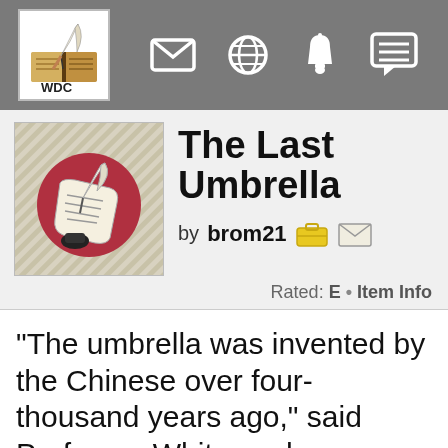[Figure (logo): WDC Writing.com logo with book and quill pen]
[Figure (infographic): Navigation bar icons: mail envelope, globe, bell, chat/menu]
[Figure (illustration): Writing.com item thumbnail: quill pen writing on paper with red circle background, diagonal stripe pattern border]
The Last Umbrella
by brom21
Rated: E • Item Info
“The umbrella was invented by the Chinese over four-thousand years ago,” said Professor White, as he